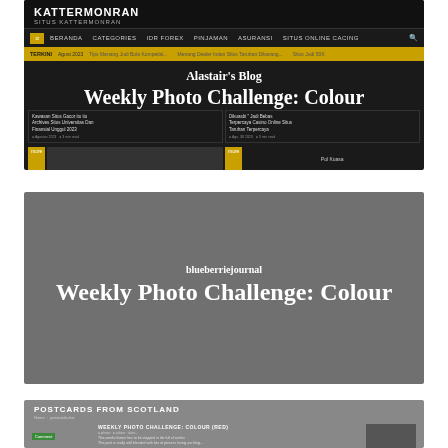[Figure (screenshot): Screenshot of a dark-themed blog called KATTERMONRAN showing site header, navigation bar, ticker, and content with the overlay text 'Alastair's Blog' and 'Weekly Photo Challenge: Colour']
[Figure (screenshot): Screenshot of a grey-background blog called blueberriejournal showing the text 'blueberriejournal' and 'Weekly Photo Challenge: Colour' centered on the page]
[Figure (screenshot): Screenshot of POSTCARDS FROM SCOTLAND blog showing article 'WEEKLY PHOTO CHALLENGE: COLOUR (RED)' and partial bottom title 'Postcards from Scotland']